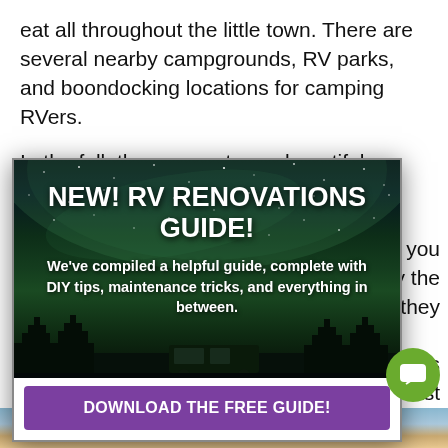eat all throughout the little town. There are several nearby campgrounds, RV parks, and boondocking locations for camping RVers.
In the fall, the aspens turn a beautiful golden color, and these are best viewed from the town's gondola. Once atop the mountains, you [can] enjoy the [views] as they [change]...
[Figure (infographic): Modal popup advertisement over a starry night sky background with mountain silhouettes and an RV. Large white bold text reads 'NEW! RV RENOVATIONS GUIDE!' with subtitle text and a purple download button.]
NEW! RV RENOVATIONS GUIDE!
We've compiled a helpful guide, complete with DIY tips, maintenance tricks, and everything in between.
DOWNLOAD THE FREE GUIDE!